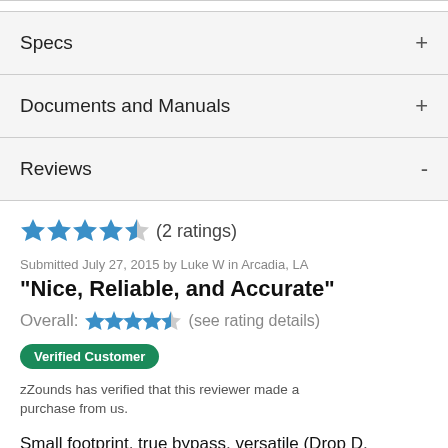Specs
Documents and Manuals
Reviews
★★★★½ (2 ratings)
Submitted July 27, 2015 by Luke W in Arcadia, LA
"Nice, Reliable, and Accurate"
Overall: ★★★★½ (see rating details)
Verified Customer  zZounds has verified that this reviewer made a purchase from us.
Small footprint, true bypass, versatile (Drop D, standard, flat, strobe, and polyphonic tuning in one small package!) Occasionally has problems reading lo...